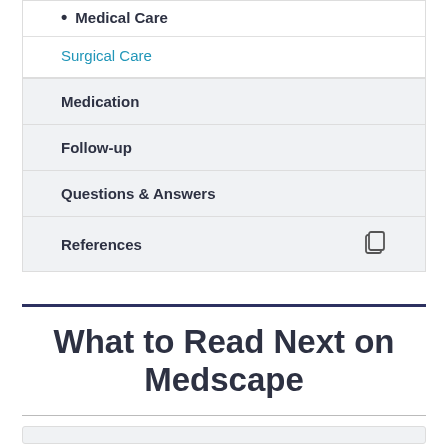Medical Care
Surgical Care
Medication
Follow-up
Questions & Answers
References
What to Read Next on Medscape